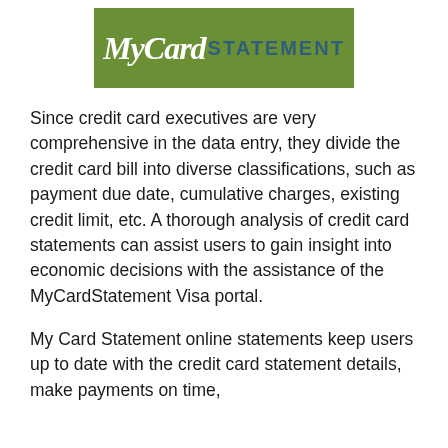[Figure (logo): MyCardSTATEMENT logo on green background — script italic white text 'MyCard' followed by bold teal uppercase 'STATEMENT']
Since credit card executives are very comprehensive in the data entry, they divide the credit card bill into diverse classifications, such as payment due date, cumulative charges, existing credit limit, etc. A thorough analysis of credit card statements can assist users to gain insight into economic decisions with the assistance of the MyCardStatement Visa portal.
My Card Statement online statements keep users up to date with the credit card statement details, make payments on time,